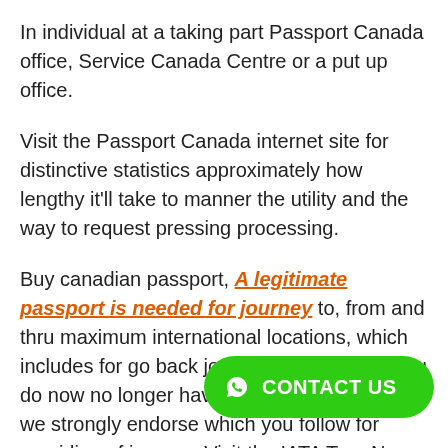In individual at a taking part Passport Canada office, Service Canada Centre or a put up office.
Visit the Passport Canada internet site for distinctive statistics approximately how lengthy it'll take to manner the utility and the way to request pressing processing.
Buy canadian passport, A legitimate passport is needed for journey to, from and thru maximum international locations, which includes for go back journey to Canada. If you do now no longer have a legitimate passport, we strongly endorse which you follow fo... journey. Visit the IATA Trav... New Window External web website online which
[Figure (other): Green CONTACT US button with WhatsApp icon in bottom right corner]